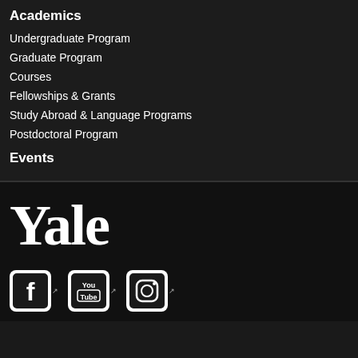Academics
Undergraduate Program
Graduate Program
Courses
Fellowships & Grants
Study Abroad & Language Programs
Postdoctoral Program
Events
[Figure (logo): Yale University wordmark in large white serif font on dark background]
[Figure (infographic): Three social media icons: Facebook, YouTube, and Instagram, each with external link arrows, on dark background]